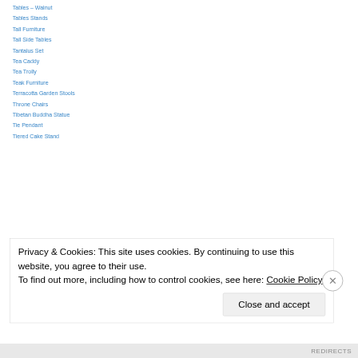Tables – Walnut
Tables Stands
Tall Furniture
Tall Side Tables
Tantalus Set
Tea Caddy
Tea Trolly
Teak Furniture
Terracotta Garden Stools
Throne Chairs
Tibetan Buddha Statue
Tie Pendant
Tiered Cake Stand
Privacy & Cookies: This site uses cookies. By continuing to use this website, you agree to their use. To find out more, including how to control cookies, see here: Cookie Policy
Close and accept
REDIRECTS